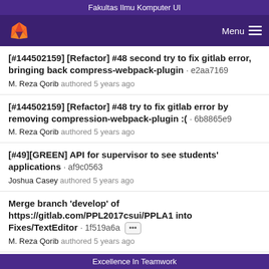Fakultas Ilmu Komputer UI
[Figure (logo): GitLab fox logo on purple nav bar with Menu hamburger icon on the right]
[#144502159] [Refactor] #48 second try to fix gitlab error, bringing back compress-webpack-plugin · e2aa7169
M. Reza Qorib authored 5 years ago
[#144502159] [Refactor] #48 try to fix gitlab error by removing compression-webpack-plugin :( · 6b8865e9
M. Reza Qorib authored 5 years ago
[#49][GREEN] API for supervisor to see students' applications · af9c0563
Joshua Casey authored 5 years ago
Merge branch 'develop' of https://gitlab.com/PPL2017csui/PPLA1 into Fixes/TextEditor · 1f519a6a ••• 
M. Reza Qorib authored 5 years ago
Excellence In Teamwork